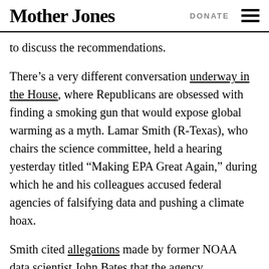Mother Jones  DONATE
to discuss the recommendations.
There’s a very different conversation underway in the House, where Republicans are obsessed with finding a smoking gun that would expose global warming as a myth. Lamar Smith (R-Texas), who chairs the science committee, held a hearing yesterday titled “Making EPA Great Again,” during which he and his colleagues accused federal agencies of falsifying data and pushing a climate hoax.
Smith cited allegations made by former NOAA data scientist John Bates that the agency mishandled data used in a 2015 study challenging the belief that global warming had “paused” in recent years.